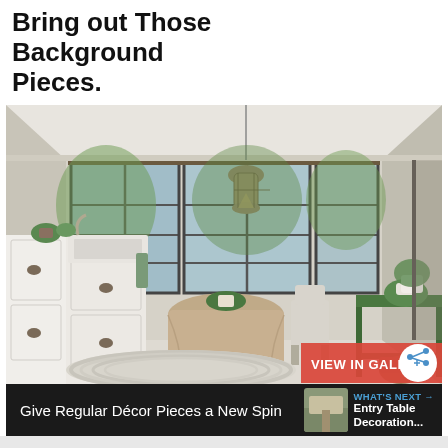Bring out Those Background Pieces.
[Figure (photo): Bright kitchen/dining room with large industrial-style windows, white cabinets with farmhouse sink, round table covered with linen cloth, green wooden table, hanging Moroccan lantern, plants, striped rug on pale floor]
Give Regular Décor Pieces a New Spin
WHAT'S NEXT → Entry Table Decoration...